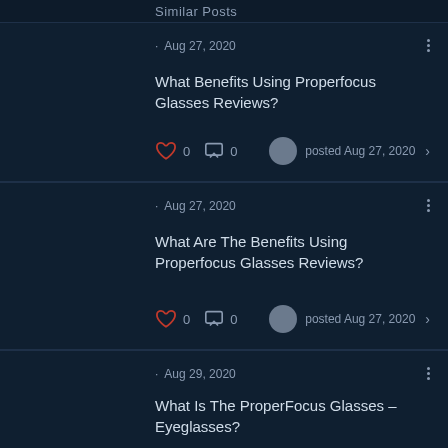Similar Posts
· Aug 27, 2020
What Benefits Using Properfocus Glasses Reviews?
0 likes 0 comments posted Aug 27, 2020
· Aug 27, 2020
What Are The Benefits Using Properfocus Glasses Reviews?
0 likes 0 comments posted Aug 27, 2020
· Aug 29, 2020
What Is The ProperFocus Glasses – Eyeglasses?
0 likes 0 comments posted Aug 29, 2020